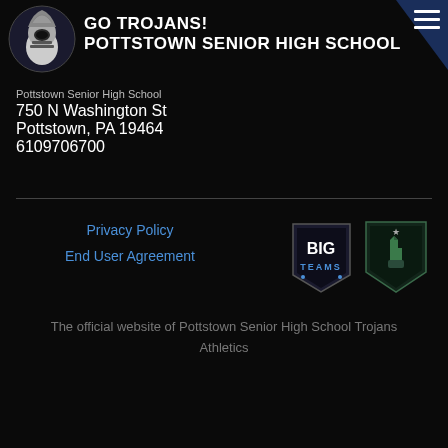GO TROJANS! POTTSTOWN SENIOR HIGH SCHOOL
Pottstown Senior High School
750 N Washington St
Pottstown, PA 19464
6109706700
Privacy Policy
End User Agreement
[Figure (logo): BigTeams and Number 1 athletics logos]
The official website of Pottstown Senior High School Trojans Athletics